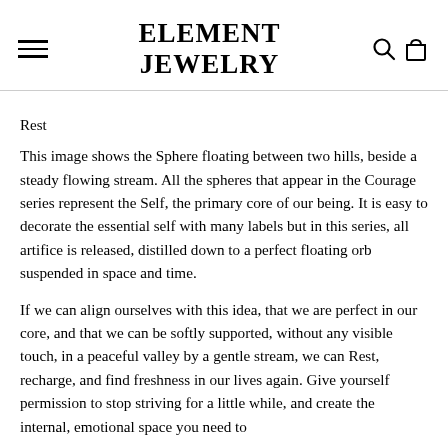ELEMENT JEWELRY
Rest
This image shows the Sphere floating between two hills, beside a steady flowing stream. All the spheres that appear in the Courage series represent the Self, the primary core of our being. It is easy to decorate the essential self with many labels but in this series, all artifice is released, distilled down to a perfect floating orb suspended in space and time.
If we can align ourselves with this idea, that we are perfect in our core, and that we can be softly supported, without any visible touch, in a peaceful valley by a gentle stream, we can Rest, recharge, and find freshness in our lives again. Give yourself permission to stop striving for a little while, and create the internal, emotional space you need to